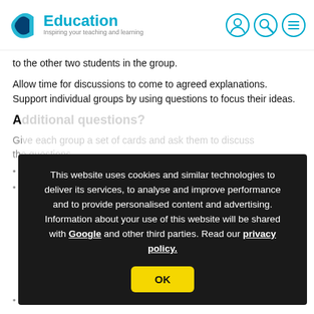C Education — Inspiring your teaching and learning
to the other two students in the group.
Allow time for discussions to come to agreed explanations. Support individual groups by using questions to focus their ideas.
A...
Gi... th...
•
• ...ue
[Figure (screenshot): Cookie consent overlay on dark background reading: This website uses cookies and similar technologies to deliver its services, to analyse and improve performance and to provide personalised content and advertising. Information about your use of this website will be shared with Google and other third parties. Read our privacy policy. With an OK button.]
• Record this in the table.